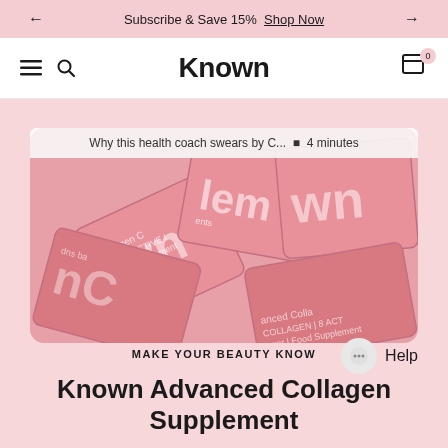← Subscribe & Save 15%  Shop Now →
Known
Why this health coach swears by C...  ■  4 minutes
[Figure (photo): Multiple pink 'Known Advanced Collagen Supplement' sachet packets arranged overlapping each other at various angles, showing the product branding with 'Known' in large white letters on pink packaging]
MAKE YOUR BEAUTY KNOW
Known Advanced Collagen Supplement